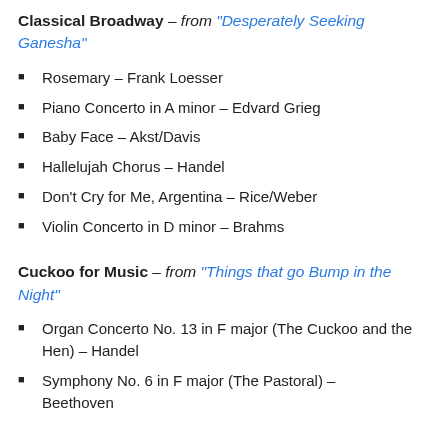Classical Broadway – from "Desperately Seeking Ganesha"
Rosemary – Frank Loesser
Piano Concerto in A minor – Edvard Grieg
Baby Face – Akst/Davis
Hallelujah Chorus – Handel
Don't Cry for Me, Argentina – Rice/Weber
Violin Concerto in D minor – Brahms
Cuckoo for Music – from "Things that go Bump in the Night"
Organ Concerto No. 13 in F major (The Cuckoo and the Hen) – Handel
Symphony No. 6 in F major (The Pastoral) – Beethoven